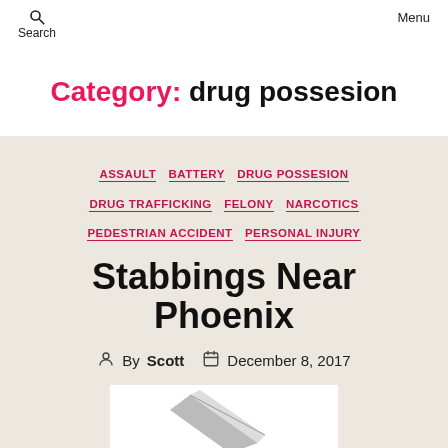Search | Menu
Category: drug possesion
ASSAULT  BATTERY  DRUG POSSESION  DRUG TRAFFICKING  FELONY  NARCOTICS  PEDESTRIAN ACCIDENT  PERSONAL INJURY
Stabbings Near Phoenix
By Scott  December 8, 2017
[Figure (photo): Partial image of a knife or blade on white background, cropped at bottom of page]